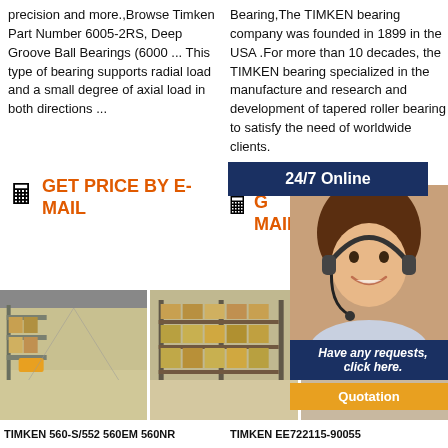precision and more.,Browse Timken Part Number 6005-2RS, Deep Groove Ball Bearings (6000 ... This type of bearing supports radial load and a small degree of axial load in both directions ...
GET PRICE BY E-MAIL
Bearing,The TIMKEN bearing company was founded in 1899 in the USA .For more than 10 decades, the TIMKEN bearing specialized in the manufacture and research and development of tapered roller bearing to satisfy the need of worldwide clients.
24/7 Online
G MAIL
[Figure (photo): Customer service representative woman with headset smiling]
Have any requests, click here.
Quotation
[Figure (photo): Large warehouse interior with high shelving racks]
[Figure (photo): Warehouse with stacked boxes on shelving]
[Figure (photo): Warehouse aisle with boxes and products]
TIMKEN 560-S/552 560EM 560NR
TIMKEN EE722115-90055